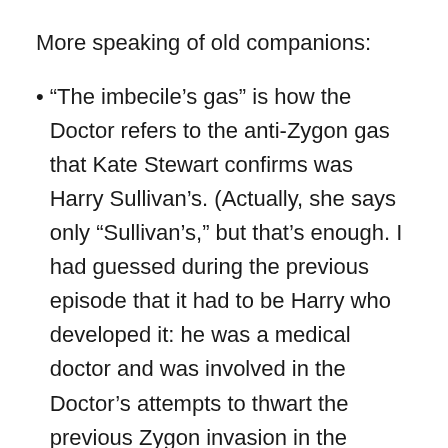More speaking of old companions:
“The imbecile’s gas” is how the Doctor refers to the anti-Zygon gas that Kate Stewart confirms was Harry Sullivan’s. (Actually, she says only “Sullivan’s,” but that’s enough. I had guessed during the previous episode that it had to be Harry who developed it: he was a medical doctor and was involved in the Doctor’s attempts to thwart the previous Zygon invasion in the 1970s (or was it 80s?). And he was a bit dense and stolid, just the sort of medical man you might imagine could forget the Hippocratic oath in order to